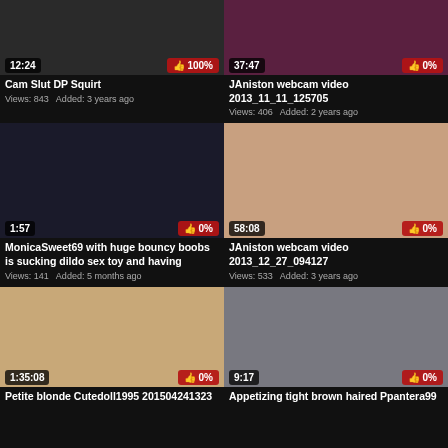[Figure (screenshot): Video thumbnail top-left, duration 12:24, rating 100%]
[Figure (screenshot): Video thumbnail top-right, duration 37:47, rating 0%]
Cam Slut DP Squirt
Views: 843   Added: 3 years ago
JAniston webcam video 2013_11_11_125705
Views: 406   Added: 2 years ago
[Figure (screenshot): Video thumbnail middle-left, duration 1:57, rating 0%]
[Figure (screenshot): Video thumbnail middle-right, duration 58:08, rating 0%]
MonicaSweet69 with huge bouncy boobs is sucking dildo sex toy and having
Views: 141   Added: 5 months ago
JAniston webcam video 2013_12_27_094127
Views: 533   Added: 3 years ago
[Figure (screenshot): Video thumbnail bottom-left, duration 1:35:08, rating 0%]
[Figure (screenshot): Video thumbnail bottom-right, duration 9:17, rating 0%]
Petite blonde Cutedoll1995 201504241323
Appetizing tight brown haired Ppantera99